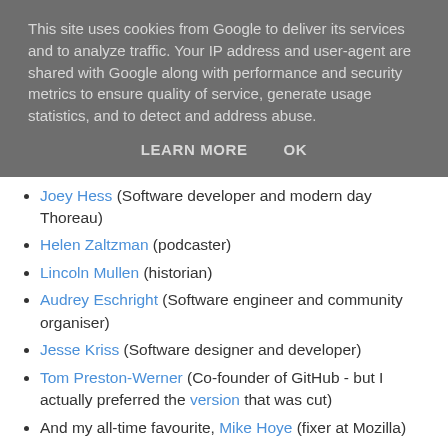This site uses cookies from Google to deliver its services and to analyze traffic. Your IP address and user-agent are shared with Google along with performance and security metrics to ensure quality of service, generate usage statistics, and to detect and address abuse.
LEARN MORE   OK
Joey Hess (Software developer and modern day Thoreau)
Helen Zaltzman (podcaster)
Lincoln Mullen (historian)
Audrey Eschright (Software engineer and community organiser)
Jesse Kriss (Software designer and developer)
Tom Preston-Werner (Co-founder of GitHub - but I actually preferred the version that was cut)
And my all-time favourite, Mike Hoye (fixer at Mozilla)